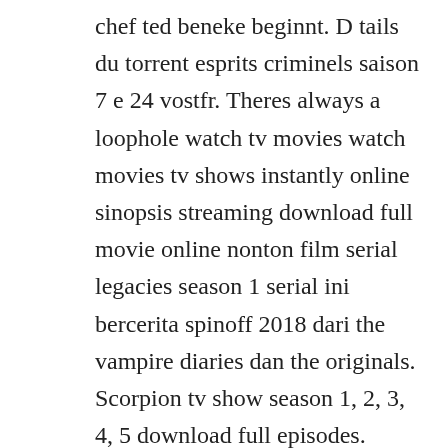chef ted beneke beginnt. D tails du torrent esprits criminels saison 7 e 24 vostfr. Theres always a loophole watch tv movies watch movies tv shows instantly online sinopsis streaming download full movie online nonton film serial legacies season 1 serial ini bercerita spinoff 2018 dari the vampire diaries dan the originals. Scorpion tv show season 1, 2, 3, 4, 5 download full episodes. Regarder et telecharger les meilleur films et videos. For the best experience please update your browser. Breaking bad season 1 2008 apocalypshit soundtrack ost portaps10. Chef